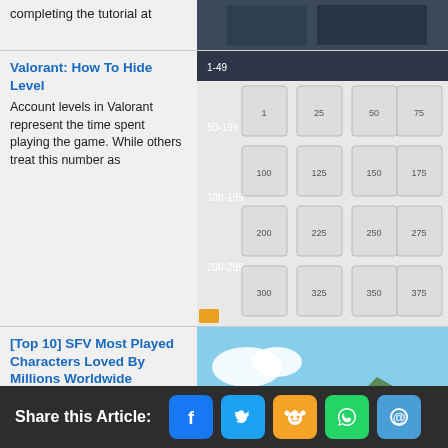completing the tutorial at
[Figure (screenshot): Dark screenshot of a game, partially visible at top]
Valorant: How To Hide Level
Account levels in Valorant represent the time spent playing the game. While others treat this number as
[Figure (screenshot): Valorant level badge grid screenshot]
[Top 10] SFV Most Played Characters Loved By Millions Worldwide
Who are the most popular characters in Street Fighter? Ever
[Figure (screenshot): Street Fighter V character (Ryu) in fighting stance]
[Top 15] SFV Best Graphics Settings (Updated for 2022)
Do you want to know what are the best graphics settings for SFV on PC? Find out
[Figure (screenshot): SFV graphics settings menu screenshot]
[Top 5] SFV Best Control Sticks (Used
[Figure (screenshot): Arcade stick controller on dark background]
Share this Article: